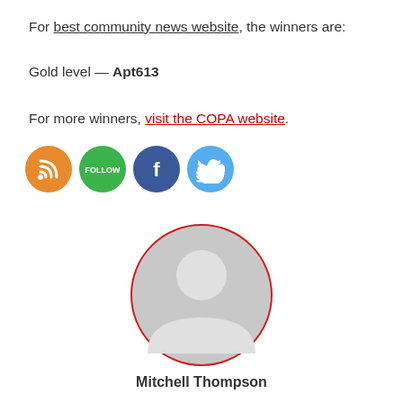For best community news website, the winners are:
Gold level — Apt613
For more winners, visit the COPA website.
[Figure (illustration): Row of four social media icon circles: RSS (orange), Follow (green), Facebook (dark blue), Twitter (light blue)]
[Figure (photo): Generic grey avatar/profile silhouette in a circle with a red border]
Mitchell Thompson